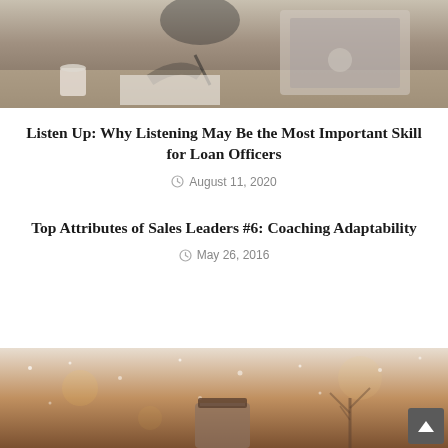[Figure (photo): Woman in black blazer writing at desk with laptop and coffee cup in background, office setting]
Listen Up: Why Listening May Be the Most Important Skill for Loan Officers
August 11, 2020
Top Attributes of Sales Leaders #6: Coaching Adaptability
May 26, 2016
[Figure (photo): Winter scene with jar/mason jar on snowy background with bare trees, warm bokeh lighting]